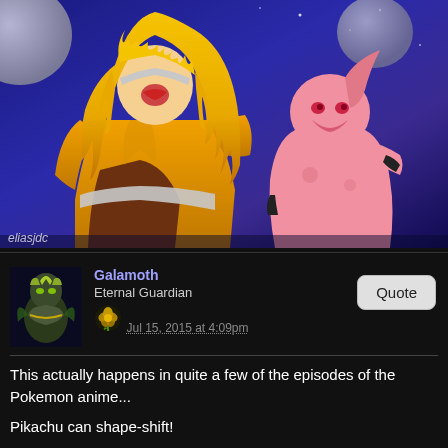[Figure (illustration): Anime scene showing Super Saiyan 3 Goku with long golden spiky hair screaming, facing off against Kid Buu (pink alien villain) against a dark blue space background with two moons visible. Watermark 'eliasjdc' in bottom left.]
Galamoth
Eternal Guardian
Jul 15, 2015 at 4:09pm
This actually happens in quite a few of the episodes of the Pokemon anime...

Pikachu can shape-shift!